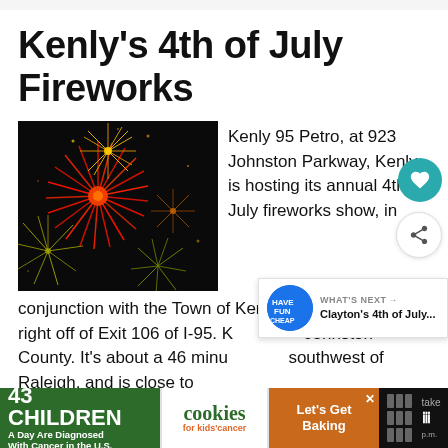Kenly's 4th of July Fireworks
[Figure (photo): Fireworks photo showing red and golden bursts against a dark background]
Kenly 95 Petro, at 923 Johnston Parkway, Kenly, is hosting its annual 4th of July fireworks show, in conjunction with the Town of Kenly. The truck stop is right off of Exit 106 of I-95. Kenly is in Johnston County. It's about a 46 minute drive southwest of Raleigh, and is close to
[Figure (other): Advertisement banner: 43 Children A Day Are Diagnosed With Cancer in the U.S. - cookies for kids cancer - Let's Get Baking]